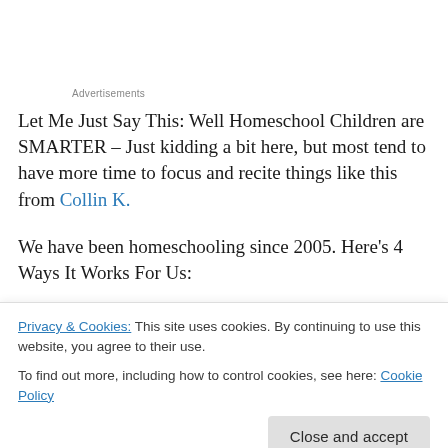Advertisements
Let Me Just Say This: Well Homeschool Children are SMARTER – Just kidding a bit here, but most tend to have more time to focus and recite things like this from Collin K.
We have been homeschooling since 2005. Here's 4 Ways It Works For Us:
1. Flexibility – I don't like getting up early on cold
Privacy & Cookies: This site uses cookies. By continuing to use this website, you agree to their use. To find out more, including how to control cookies, see here: Cookie Policy
jump up and go. And yes, spontaneous field trips are